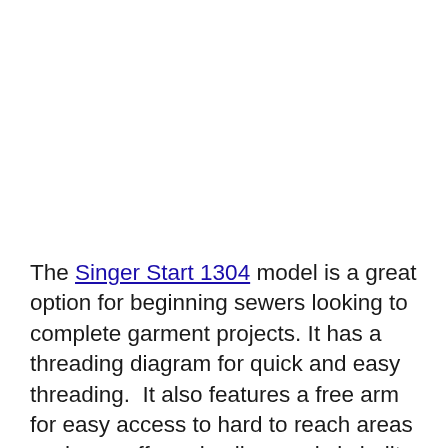The Singer Start 1304 model is a great option for beginning sewers looking to complete garment projects. It has a threading diagram for quick and easy threading.  It also features a free arm for easy access to hard to reach areas such as cuffs and collars and six built-in stitch patterns.